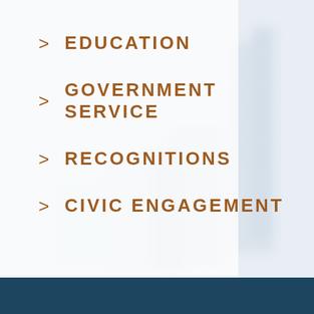[Figure (illustration): Blurred city skyline background image, light blue-grey tones, occupying most of the page background]
> EDUCATION
> GOVERNMENT SERVICE
> RECOGNITIONS
> CIVIC ENGAGEMENT